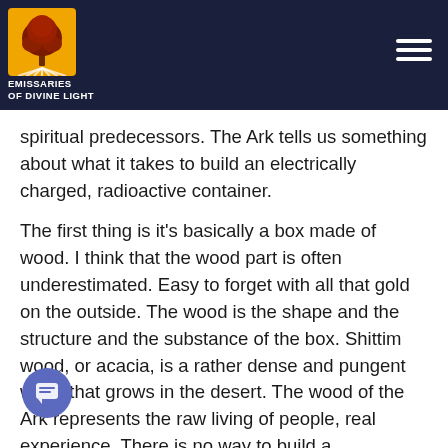Emissaries of Divine Light
spiritual predecessors. The Ark tells us something about what it takes to build an electrically charged, radioactive container.
The first thing is it's basically a box made of wood. I think that the wood part is often underestimated. Easy to forget with all that gold on the outside. The wood is the shape and the structure and the substance of the box. Shittim wood, or acacia, is a rather dense and pungent wood that grows in the desert. The wood of the Ark represents the raw living of people, real experience. There is no way to build a radioactive, electrically charged container without people who are willing to face, to own, to be self-aware with respect to